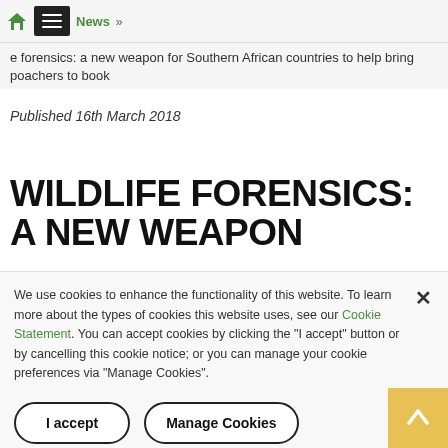Home » News » e forensics: a new weapon for Southern African countries to help bring poachers to book
Published 16th March 2018
WILDLIFE FORENSICS: A NEW WEAPON
We use cookies to enhance the functionality of this website. To learn more about the types of cookies this website uses, see our Cookie Statement. You can accept cookies by clicking the "I accept" button or by cancelling this cookie notice; or you can manage your cookie preferences via "Manage Cookies".